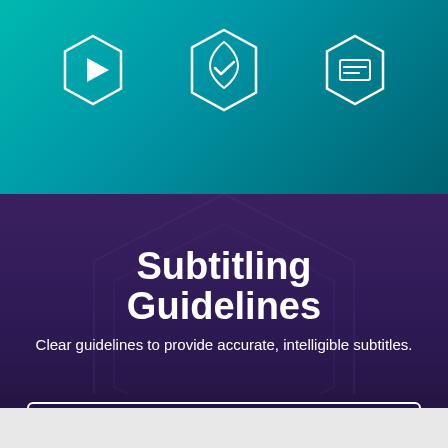[Figure (illustration): Teal/cyan colored header image with hexagonal icons including a play button, a shield/checkmark, and a subtitles/caption icon, with hands on a keyboard visible in background]
Subtitling Guidelines
Clear guidelines to provide accurate, intelligible subtitles.
Tell us about your project
Subtitling Services